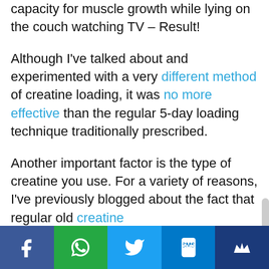capacity for muscle growth while lying on the couch watching TV – Result!
Although I've talked about and experimented with a very different method of creatine loading, it was no more effective than the regular 5-day loading technique traditionally prescribed.
Another important factor is the type of creatine you use. For a variety of reasons, I've previously blogged about the fact that regular old creatine
[Figure (infographic): Social sharing bar with Facebook, WhatsApp, Twitter, SMS, and a crown/email icon buttons]